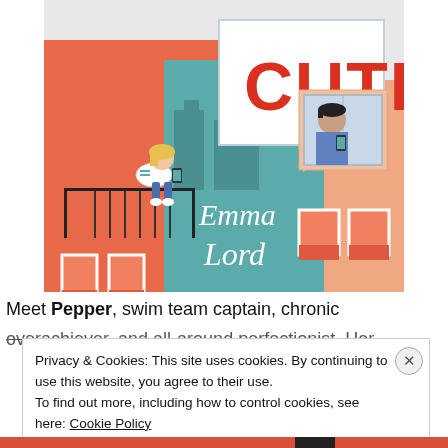[Figure (illustration): Book cover illustration for 'Tweet Cute' by Emma Lord. Shows two apartment buildings with coral/salmon colors. A blonde girl sits on a balcony looking at her phone on the left, and a dark-haired boy leans out a window on the right. A large speech bubble in the middle says 'CUTE' in bold red letters. The author name 'Emma Lord' is written in white script font in the center-lower portion of the cover.]
Meet Pepper, swim team captain, chronic overachiever, and all-around perfectionist. Her
Privacy & Cookies: This site uses cookies. By continuing to use this website, you agree to their use.
To find out more, including how to control cookies, see here: Cookie Policy
Close and accept